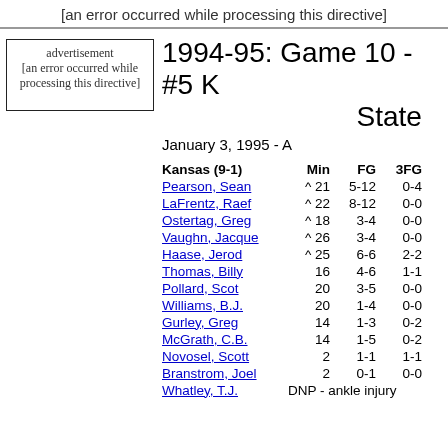[an error occurred while processing this directive]
advertisement
[an error occurred while processing this directive]
1994-95: Game 10 - #5 K... State
January 3, 1995 - A...
| Kansas (9-1) | Min | FG | 3FG |
| --- | --- | --- | --- |
| Pearson, Sean | ^ 21 | 5-12 | 0-4 |
| LaFrentz, Raef | ^ 22 | 8-12 | 0-0 |
| Ostertag, Greg | ^ 18 | 3-4 | 0-0 |
| Vaughn, Jacque | ^ 26 | 3-4 | 0-0 |
| Haase, Jerod | ^ 25 | 6-6 | 2-2 |
| Thomas, Billy | 16 | 4-6 | 1-1 |
| Pollard, Scot | 20 | 3-5 | 0-0 |
| Williams, B.J. | 20 | 1-4 | 0-0 |
| Gurley, Greg | 14 | 1-3 | 0-2 |
| McGrath, C.B. | 14 | 1-5 | 0-2 |
| Novosel, Scott | 2 | 1-1 | 1-1 |
| Branstrom, Joel | 2 | 0-1 | 0-0 |
| Whatley, T.J. | DNP - ankle injury |  |  |